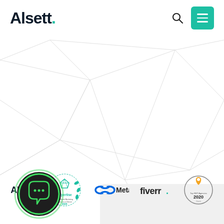Alsett. [logo] | search icon | menu button
[Figure (infographic): Geometric light gray triangular network background pattern spanning the upper 75% of the page]
[Figure (infographic): Partners/affiliates strip showing: Alsett logo, Expertise 2020 badge, Meta logo, Fiverr logo, Top SEO Agencies 2020 badge with map pin icon]
[Figure (infographic): Dark circular chat widget/button with green border and speech bubble with three dots icon, positioned bottom left]